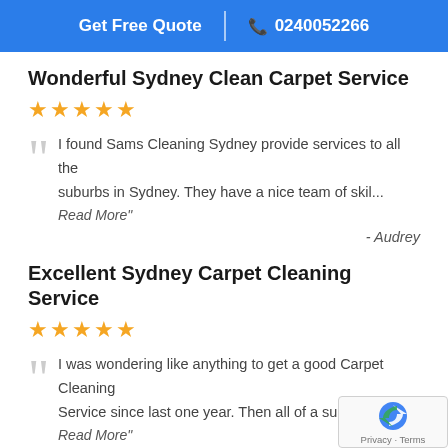Get Free Quote | 0240052266
Wonderful Sydney Clean Carpet Service
★★★★★
I found Sams Cleaning Sydney provide services to all the suburbs in Sydney. They have a nice team of skil...
Read More"
- Audrey
Excellent Sydney Carpet Cleaning Service
★★★★★
I was wondering like anything to get a good Carpet Cleaning Service since last one year. Then all of a su...
Read More"
- Pipe